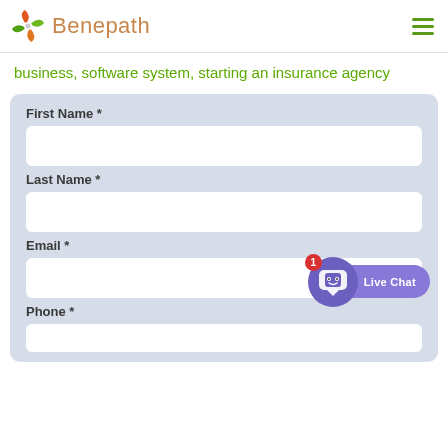Benepath
business, software system, starting an insurance agency
[Figure (screenshot): Web form with fields: First Name, Last Name, Email, Phone, and a Live Chat widget in the bottom right corner]